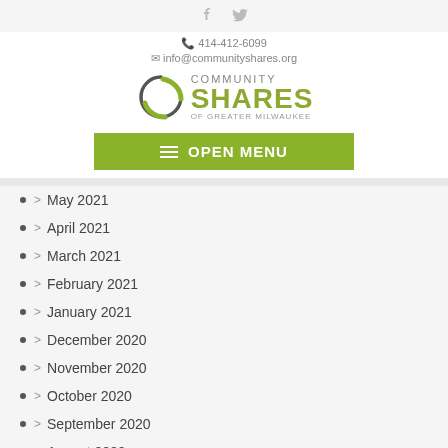[Figure (logo): Community Shares of Greater Milwaukee logo with circular swoosh graphic]
414-412-6099
info@communityshares.org
OPEN MENU
May 2021
April 2021
March 2021
February 2021
January 2021
December 2020
November 2020
October 2020
September 2020
August 2020